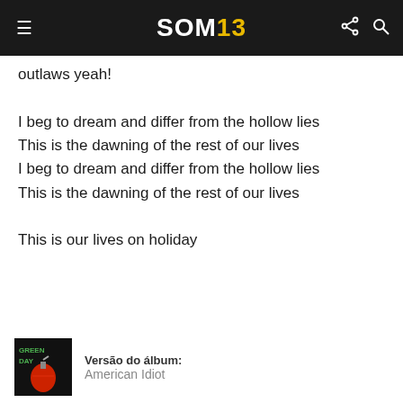SOM13
outlaws yeah!

I beg to dream and differ from the hollow lies
This is the dawning of the rest of our lives
I beg to dream and differ from the hollow lies
This is the dawning of the rest of our lives

This is our lives on holiday
Versão do álbum: American Idiot
Outras versões dessa música
Awesome as F**k - Holiday
Bullet in a Bible - Holiday
American Idiot The Original Broadway Cast Recording - Holiday